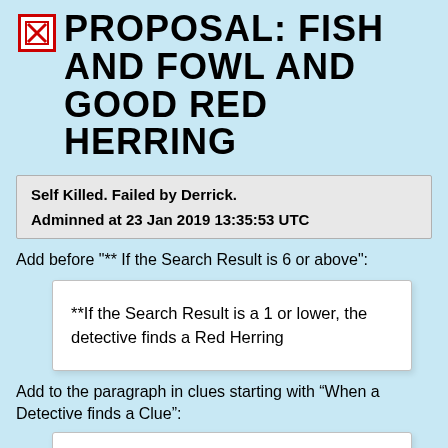PROPOSAL: FISH AND FOWL AND GOOD RED HERRING
Self Killed. Failed by Derrick.
Adminned at 23 Jan 2019 13:35:53 UTC
Add before "** If the Search Result is 6 or above":
**If the Search Result is a 1 or lower, the detective finds a Red Herring
Add to the paragraph in clues starting with “When a Detective finds a Clue”: